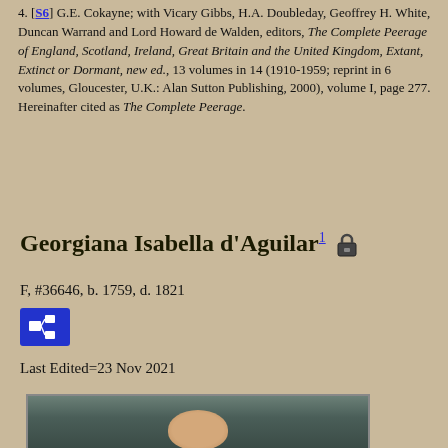4. [S6] G.E. Cokayne; with Vicary Gibbs, H.A. Doubleday, Geoffrey H. White, Duncan Warrand and Lord Howard de Walden, editors, The Complete Peerage of England, Scotland, Ireland, Great Britain and the United Kingdom, Extant, Extinct or Dormant, new ed., 13 volumes in 14 (1910-1959; reprint in 6 volumes, Gloucester, U.K.: Alan Sutton Publishing, 2000), volume I, page 277. Hereinafter cited as The Complete Peerage.
Georgiana Isabella d'Aguilar
F, #36646, b. 1759, d. 1821
Last Edited=23 Nov 2021
[Figure (photo): Portrait painting of Georgiana Isabella d'Aguilar, showing a woman with dark hair adorned with a floral wreath, against a dark background.]